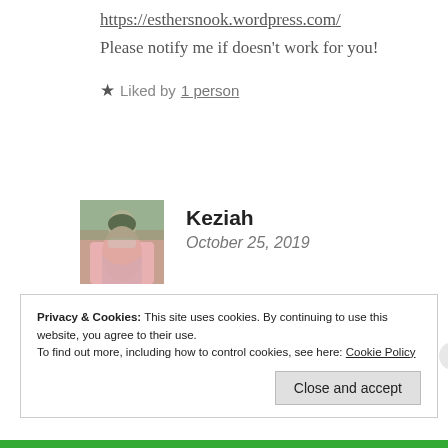https://esthersnook.wordpress.com/
Please notify me if doesn't work for you!
★ Liked by 1 person
[Figure (photo): Avatar photo of Keziah, a person in a pink dress outdoors]
Keziah
October 25, 2019
Awesome!! I love it; thanks for sending it!!
Privacy & Cookies: This site uses cookies. By continuing to use this website, you agree to their use.
To find out more, including how to control cookies, see here: Cookie Policy
Close and accept